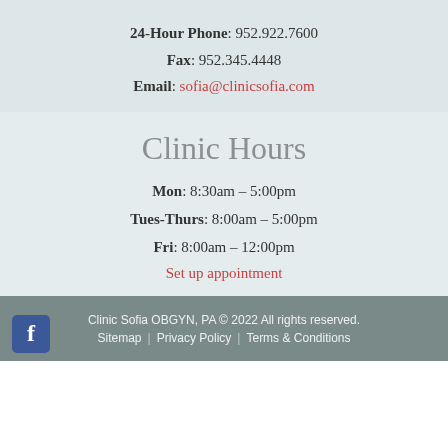24-Hour Phone: 952.922.7600
Fax: 952.345.4448
Email: sofia@clinicsofia.com
Clinic Hours
Mon: 8:30am – 5:00pm
Tues-Thurs: 8:00am – 5:00pm
Fri: 8:00am – 12:00pm
Set up appointment
Clinic Sofia OBGYN, PA © 2022 All rights reserved. Sitemap | Privacy Policy | Terms & Conditions